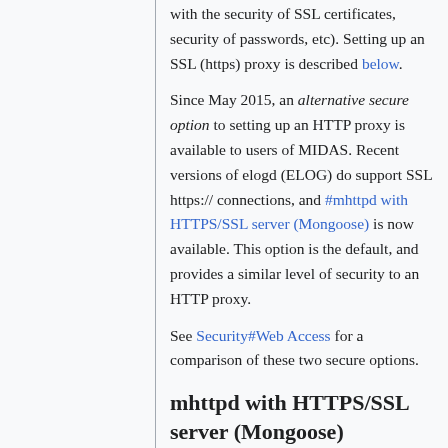with the security of SSL certificates, security of passwords, etc). Setting up an SSL (https) proxy is described below.
Since May 2015, an alternative secure option to setting up an HTTP proxy is available to users of MIDAS. Recent versions of elogd (ELOG) do support SSL https:// connections, and #mhttpd with HTTPS/SSL server (Mongoose) is now available. This option is the default, and provides a similar level of security to an HTTP proxy.
See Security#Web Access for a comparison of these two secure options.
mhttpd with HTTPS/SSL server (Mongoose)
Since May 2015 the MIDAS web server mhttpd is explicitly linked with OpenSSL